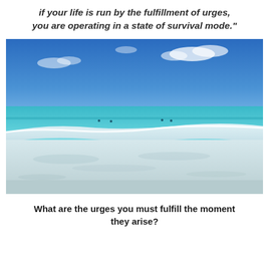if your life is run by the fulfillment of urges, you are operating in a state of survival mode."
[Figure (photo): A beach scene with turquoise ocean water, white breaking waves in the foreground, white sandy shore, and blue sky with scattered clouds above the horizon.]
What are the urges you must fulfill the moment they arise?